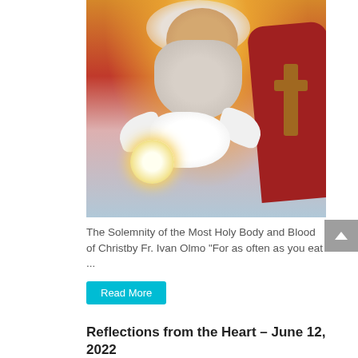[Figure (illustration): Religious painting depicting God the Father as an elderly man with white beard and hair, wearing red robes, holding a white dove and a monstrance (Eucharistic host), with a cross in his right hand. Golden light emanates from behind his head.]
The Solemnity of the Most Holy Body and Blood of Christby Fr. Ivan Olmo "For as often as you eat ...
Read More
Reflections from the Heart – June 12, 2022